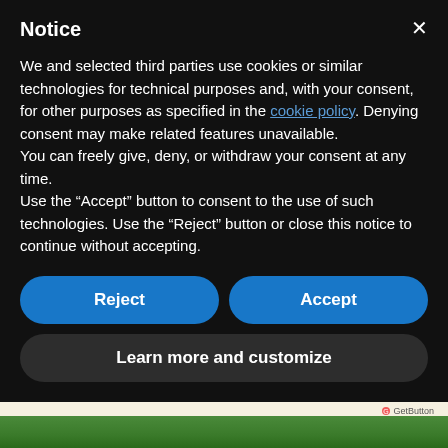Notice
We and selected third parties use cookies or similar technologies for technical purposes and, with your consent, for other purposes as specified in the cookie policy. Denying consent may make related features unavailable.
You can freely give, deny, or withdraw your consent at any time.
Use the “Accept” button to consent to the use of such technologies. Use the “Reject” button or close this notice to continue without accepting.
[Figure (screenshot): Cookie consent modal with Reject and Accept buttons, and a Learn more and customize button below. Background shows partial webpage content about San Vito Lo Capo with a chat bubble button and GetButton label.]